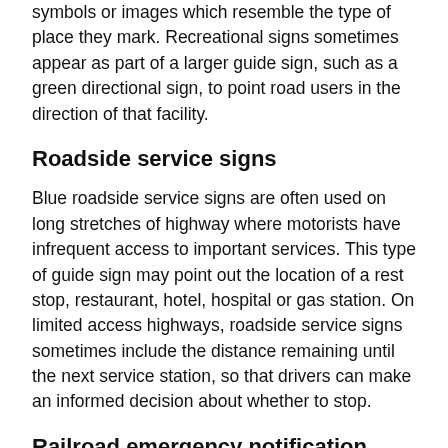symbols or images which resemble the type of place they mark. Recreational signs sometimes appear as part of a larger guide sign, such as a green directional sign, to point road users in the direction of that facility.
Roadside service signs
Blue roadside service signs are often used on long stretches of highway where motorists have infrequent access to important services. This type of guide sign may point out the location of a rest stop, restaurant, hotel, hospital or gas station. On limited access highways, roadside service signs sometimes include the distance remaining until the next service station, so that drivers can make an informed decision about whether to stop.
Railroad emergency notification system signs (ENS)